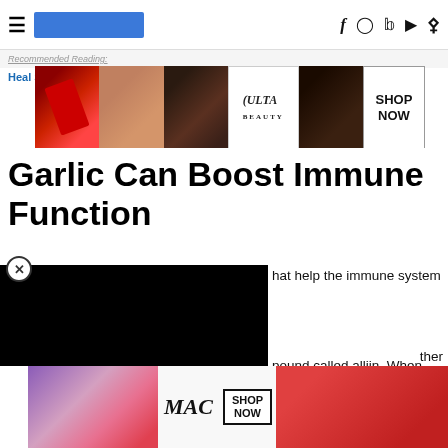≡ [blue bar] f ◎ 🐦 ▶ 🔍
Recommended Reading:
Heal S[elf]
[Figure (photo): ULTA beauty advertisement banner with makeup images and SHOP NOW button]
Garlic Can Boost Immune Function
[Figure (other): Black video player overlay with close (X) button]
hat help the immune system
pound called alliin. When garlic mpound turns into allicin , the main active ingredient in garlic (
10 ).
[Figure (photo): MAC cosmetics advertisement banner with lipstick images and SHOP NOW button, with CLOSE button]
Howev[er]
ther